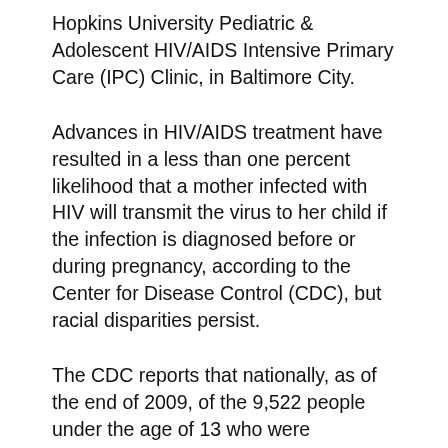Hopkins University Pediatric & Adolescent HIV/AIDS Intensive Primary Care (IPC) Clinic, in Baltimore City.
Advances in HIV/AIDS treatment have resulted in a less than one percent likelihood that a mother infected with HIV will transmit the virus to her child if the infection is diagnosed before or during pregnancy, according to the Center for Disease Control (CDC), but racial disparities persist.
The CDC reports that nationally, as of the end of 2009, of the 9,522 people under the age of 13 who were perinatally infected with HIV, 63 percent of them were Black. At the Hopkins IPC clinic, 89 percent of their clients are African-American, reflecting the demographic breakdown of HIV